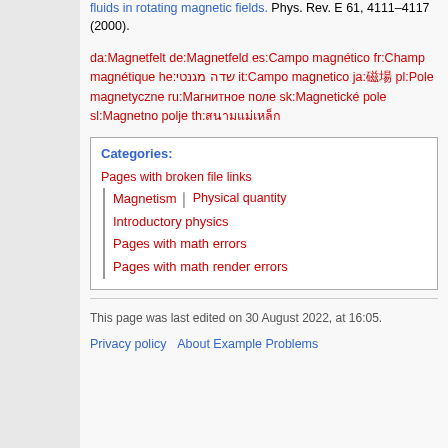fluids in rotating magnetic fields. Phys. Rev. E 61, 4111–4117 (2000).
da:Magnetfelt de:Magnetfeld es:Campo magnético fr:Champ magnétique he:שדה מגנטי it:Campo magnetico ja:磁場 pl:Pole magnetyczne ru:Магнитное поле sk:Magnetické pole sl:Magnetno polje th:สนามแม่เหล็ก
Categories: Pages with broken file links | Magnetism | Physical quantity | Introductory physics | Pages with math errors | Pages with math render errors
This page was last edited on 30 August 2022, at 16:05.
Privacy policy   About Example Problems